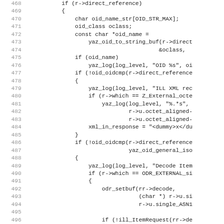Source code listing, lines 468–499, showing C code for OID reference handling and ILL XML/item request decoding.